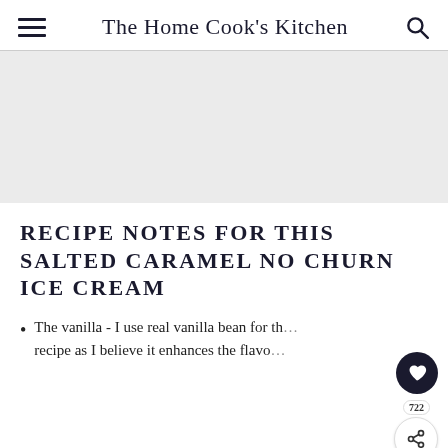The Home Cook's Kitchen
[Figure (photo): Light gray image placeholder area for a food photo]
RECIPE NOTES FOR THIS SALTED CARAMEL NO CHURN ICE CREAM
The vanilla - I use real vanilla bean for this recipe as I believe it enhances the flavo...